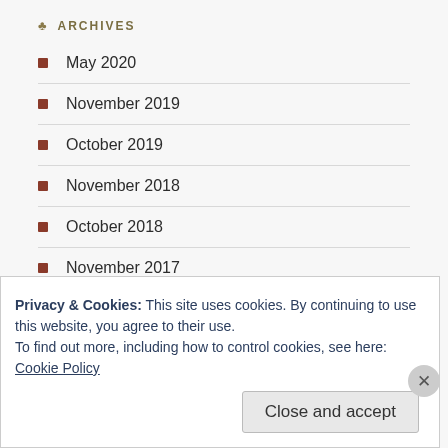ARCHIVES
May 2020
November 2019
October 2019
November 2018
October 2018
November 2017
October 2017
July 2017
June 2017
Privacy & Cookies: This site uses cookies. By continuing to use this website, you agree to their use.
To find out more, including how to control cookies, see here: Cookie Policy
Close and accept